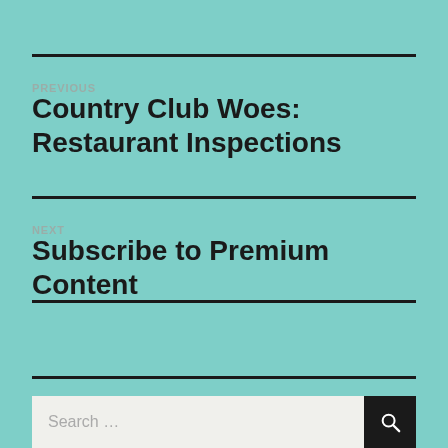PREVIOUS
Country Club Woes: Restaurant Inspections
NEXT
Subscribe to Premium Content
Search …